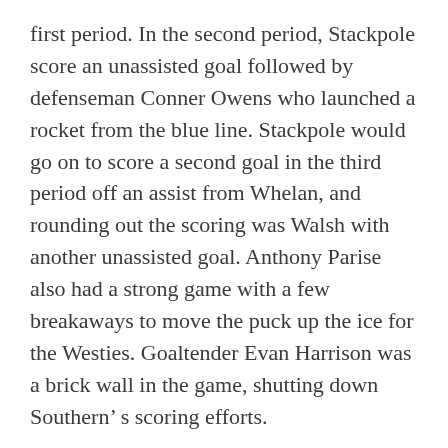first period. In the second period, Stackpole score an unassisted goal followed by defenseman Conner Owens who launched a rocket from the blue line. Stackpole would go on to score a second goal in the third period off an assist from Whelan, and rounding out the scoring was Walsh with another unassisted goal. Anthony Parise also had a strong game with a few breakaways to move the puck up the ice for the Westies. Goaltender Evan Harrison was a brick wall in the game, shutting down Southern’ s scoring efforts.
In the opening game of the tournament, the Westies played a very physical game against New Canaan. Colton Bruneau scored the first goal of the game off an assist from defenseman